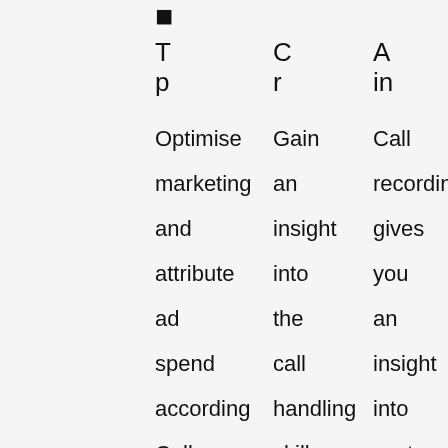[Figure (other): Bold icon/letter at top left of content area]
T
p

Optimise marketing and attribute ad spend according Call tracking gives businesse
C
r

Gain an insight into the call handling skills of your team. Mor
A
in

Call recording gives you an insight into customer conversations, helping you